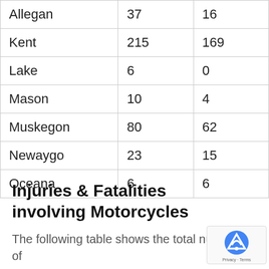| Allegan | 37 | 16 |
| Kent | 215 | 169 |
| Lake | 6 | 0 |
| Mason | 10 | 4 |
| Muskegon | 80 | 62 |
| Newaygo | 23 | 15 |
| Oceana | 6 | 6 |
Injuries & Fatalities involving Motorcycles
The following table shows the total number of